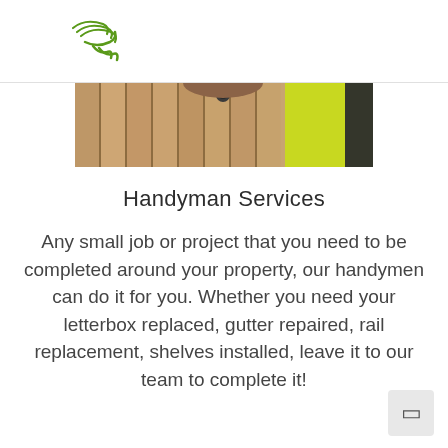[Figure (logo): Green abstract curved lines forming a logo mark in the top left area]
[Figure (photo): Person wearing a high-visibility yellow/green shirt working on a wooden fence or structure, cropped to show only the upper torso and fence]
Handyman Services
Any small job or project that you need to be completed around your property, our handymen can do it for you. Whether you need your letterbox replaced, gutter repaired, rail replacement, shelves installed, leave it to our team to complete it!